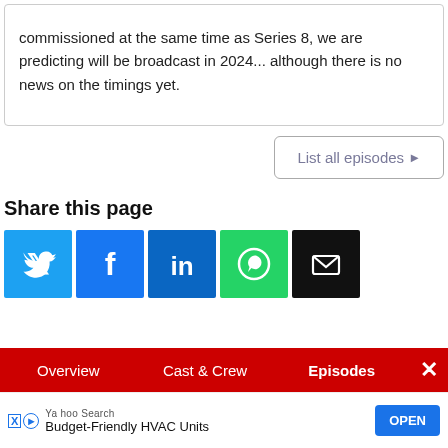commissioned at the same time as Series 8, we are predicting will be broadcast in 2024... although there is no news on the timings yet.
List all episodes ▶
Share this page
[Figure (infographic): Social share buttons: Twitter (blue), Facebook (dark blue), LinkedIn (blue), WhatsApp (green), Email (black)]
Overview | Cast & Crew | Episodes | ✕
[Figure (infographic): Yahoo Search ad banner: Budget-Friendly HVAC Units, OPEN button]